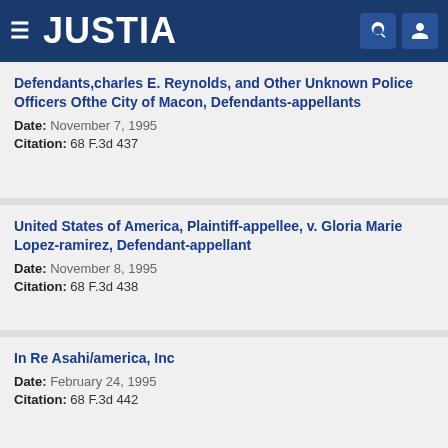JUSTIA
Defendants,charles E. Reynolds, and Other Unknown Police Officers Ofthe City of Macon, Defendants-appellants
Date: November 7, 1995
Citation: 68 F.3d 437
United States of America, Plaintiff-appellee, v. Gloria Marie Lopez-ramirez, Defendant-appellant
Date: November 8, 1995
Citation: 68 F.3d 438
In Re Asahi/america, Inc
Date: February 24, 1995
Citation: 68 F.3d 442